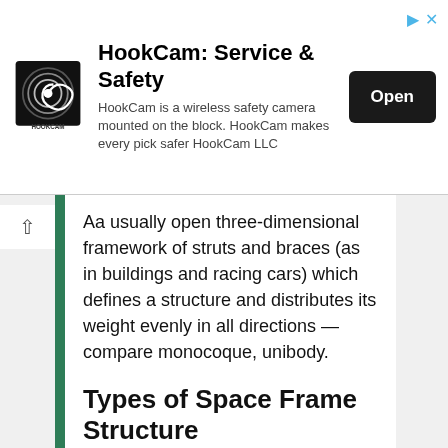[Figure (logo): HookCam logo — black circular camera lens spiral graphic with HOOKCAM text below]
HookCam: Service & Safety
HookCam is a wireless safety camera mounted on the block. HookCam makes every pick safer HookCam LLC
Aa usually open three-dimensional framework of struts and braces (as in buildings and racing cars) which defines a structure and distributes its weight evenly in all directions — compare monocoque, unibody.
Types of Space Frame Structure
Curvature Classification:
Space Plane Covers:
Barrel Vaults: